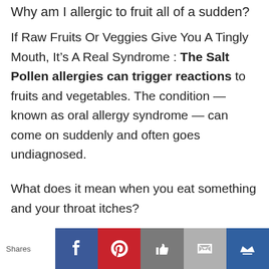Why am I allergic to fruit all of a sudden?
If Raw Fruits Or Veggies Give You A Tingly Mouth, It’s A Real Syndrome : The Salt Pollen allergies can trigger reactions to fruits and vegetables. The condition — known as oral allergy syndrome — can come on suddenly and often goes undiagnosed.
What does it mean when you eat something and your throat itches?
OAS, sometimes called pollen-food